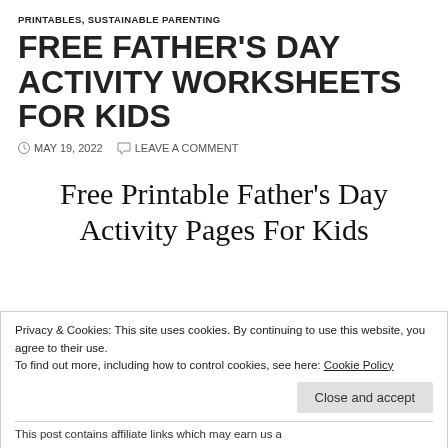PRINTABLES, SUSTAINABLE PARENTING
FREE FATHER'S DAY ACTIVITY WORKSHEETS FOR KIDS
MAY 19, 2022   LEAVE A COMMENT
[Figure (other): Section title graphic reading: Free Printable Father's Day Activity Pages For Kids]
Privacy & Cookies: This site uses cookies. By continuing to use this website, you agree to their use.
To find out more, including how to control cookies, see here: Cookie Policy
This post contains affiliate links which may earn us a